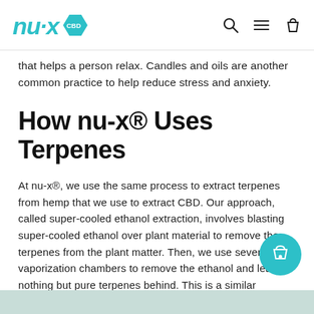nu-x CBD [logo] [search icon] [menu icon] [cart icon]
that helps a person relax. Candles and oils are another common practice to help reduce stress and anxiety.
How nu-x® Uses Terpenes
At nu-x®, we use the same process to extract terpenes from hemp that we use to extract CBD. Our approach, called super-cooled ethanol extraction, involves blasting super-cooled ethanol over plant material to remove the terpenes from the plant matter. Then, we use several vaporization chambers to remove the ethanol and leave nothing but pure terpenes behind. This is a similar process to how some perfumers make fragrances.